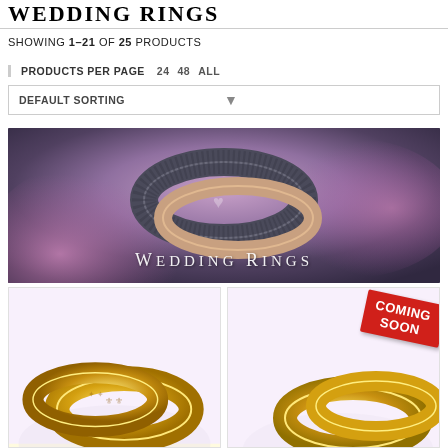WEDDING RINGS
SHOWING 1–21 OF 25 PRODUCTS
PRODUCTS PER PAGE  24  48  ALL
DEFAULT SORTING
[Figure (photo): Banner image of two interlocked dark metallic wedding rings with heart motif on pink floral background, overlaid with text 'Wedding Rings']
[Figure (photo): Product image of gold wedding rings on gradient purple-white background]
[Figure (photo): Product image of gold wedding rings with 'COMING SOON' red diagonal badge overlay]